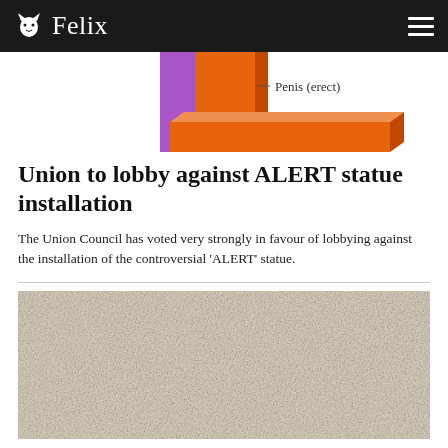Felix
[Figure (illustration): Diagram of geometric 3D block shapes in purple and orange, labeled 'Penis (erect)', partially cropped at top of page]
Union to lobby against ALERT statue installation
The Union Council has voted very strongly in favour of lobbying against the installation of the controversial 'ALERT' statue.
[Figure (photo): Photograph of a stone or concrete textured surface, beige/cream colored, cropped at bottom of page]